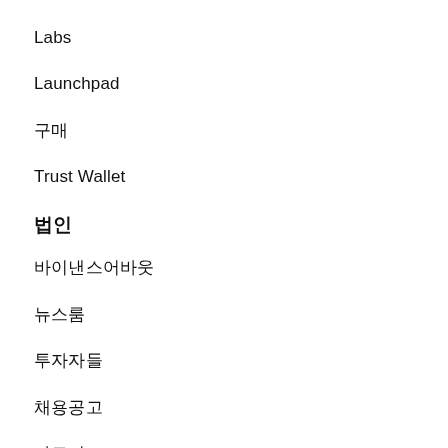Labs
Launchpad
구매
Trust Wallet
법인
바이낸스어바웃
뉴스룸
투자자들
채용공고
파트너